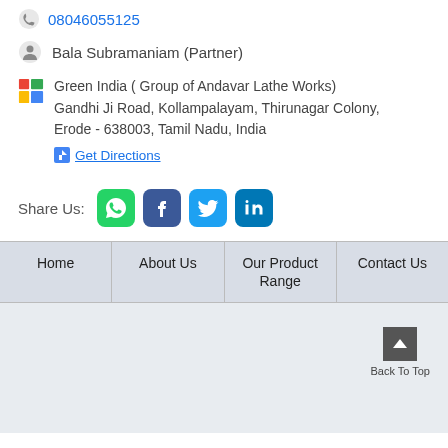08046055125
Bala Subramaniam (Partner)
Green India ( Group of Andavar Lathe Works) Gandhi Ji Road, Kollampalayam, Thirunagar Colony, Erode - 638003, Tamil Nadu, India
Get Directions
Share Us:
Home | About Us | Our Product Range | Contact Us
Back To Top